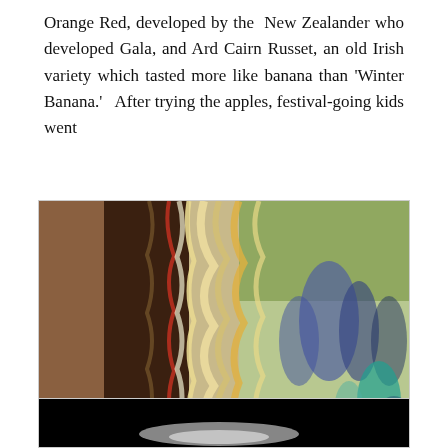Orange Red, developed by the New Zealander who developed Gala, and Ard Cairn Russet, an old Irish variety which tasted more like banana than 'Winter Banana.'  After trying the apples, festival-going kids went
[Figure (photo): A photo showing curly/wavy apple peels hanging decoratively in the foreground (left side, blurry close-up of yellow, red and white curled strips), with festival-goers visible in the blurred background on the right side outdoors.]
[Figure (photo): A dark/black photo partially visible at the bottom of the page, showing a blurred light shape against a dark background.]